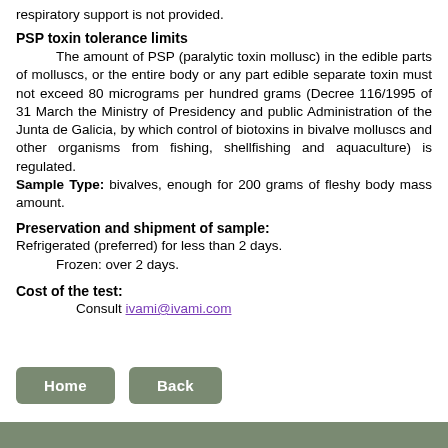respiratory support is not provided.
PSP toxin tolerance limits
The amount of PSP (paralytic toxin mollusc) in the edible parts of molluscs, or the entire body or any part edible separate toxin must not exceed 80 micrograms per hundred grams (Decree 116/1995 of 31 March the Ministry of Presidency and public Administration of the Junta de Galicia, by which control of biotoxins in bivalve molluscs and other organisms from fishing, shellfishing and aquaculture) is regulated.
Sample Type: bivalves, enough for 200 grams of fleshy body mass amount.
Preservation and shipment of sample:
Refrigerated (preferred) for less than 2 days.
	Frozen: over 2 days.
Cost of the test:
Consult ivami@ivami.com